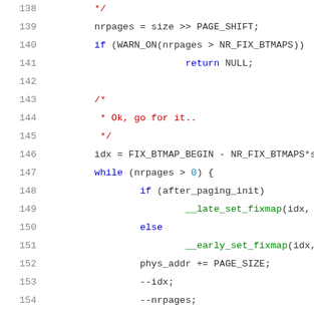[Figure (screenshot): Source code listing in C showing lines 138-158 of a kernel fixmap/ioremap function. Syntax highlighted with line numbers in gray, keywords in blue, comments in red, string literals in green.]